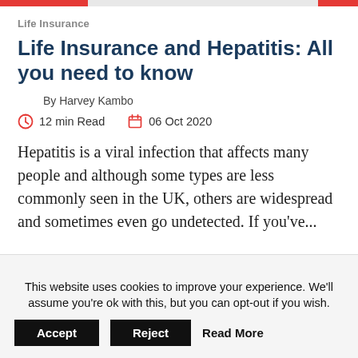Life Insurance
Life Insurance and Hepatitis: All you need to know
By Harvey Kambo
12 min Read   06 Oct 2020
Hepatitis is a viral infection that affects many people and although some types are less commonly seen in the UK, others are widespread and sometimes even go undetected. If you've...
This website uses cookies to improve your experience. We'll assume you're ok with this, but you can opt-out if you wish. Accept  Reject  Read More